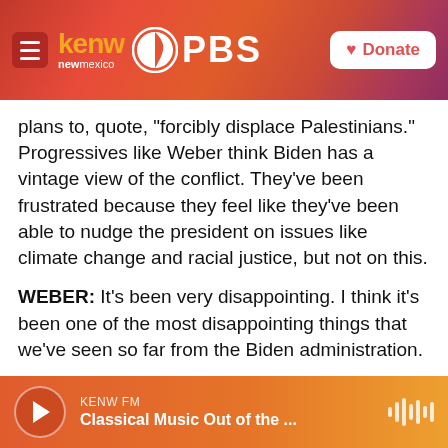KENW New Mexico PBS — Donate
plans to, quote, "forcibly displace Palestinians." Progressives like Weber think Biden has a vintage view of the conflict. They've been frustrated because they feel like they've been able to nudge the president on issues like climate change and racial justice, but not on this.
WEBER: It's been very disappointing. I think it's been one of the most disappointing things that we've seen so far from the Biden administration.
KHALID: This push from the left is not without controversy. When the chair of the Nevada state
KENW FM — Classical Music Out of the ...